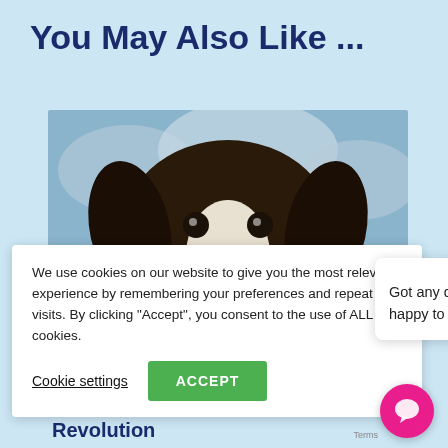You May Also Like ...
[Figure (photo): A close-up photo of a black and white spaniel dog looking down at the camera with a cloudy sky background]
We use cookies on our website to give you the most relevant experience by remembering your preferences and repeat visits. By clicking “Accept”, you consent to the use of ALL the cookies.
Cookie settings
ACCEPT
[Figure (screenshot): A chat widget popup with MNC logo, close button, and message 'Got any questions? We're happy to help.']
Got any questions? We’re happy to help.
Revolution
Terms